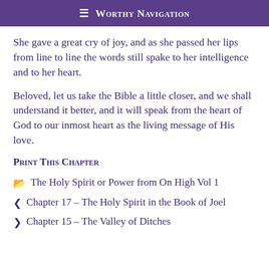≡ Worthy Navigation
She gave a great cry of joy, and as she passed her lips from line to line the words still spake to her intelligence and to her heart.
Beloved, let us take the Bible a little closer, and we shall understand it better, and it will speak from the heart of God to our inmost heart as the living message of His love.
Print This Chapter
📁 The Holy Spirit or Power from On High Vol 1
‹ Chapter 17 – The Holy Spirit in the Book of Joel
› Chapter 15 – The Valley of Ditches